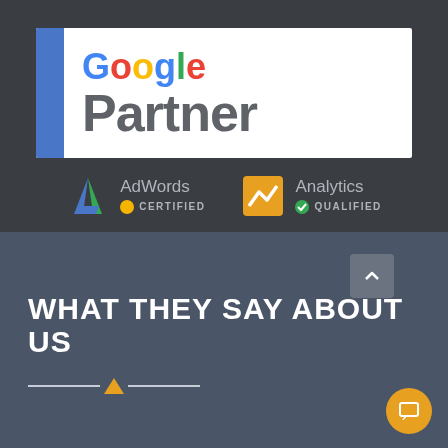[Figure (logo): Google Partner badge with blue left bar, Google multicolor text and gray Partner text]
[Figure (logo): AdWords Certified badge with blue/green A logo and yellow certified dot, and Analytics Qualified badge with orange chart logo and green checkmark]
WHAT THEY SAY ABOUT US